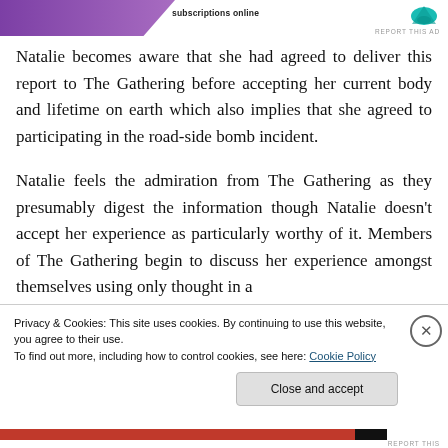[Figure (other): Partial advertisement banner with purple graphic and text 'subscriptions online' with a teal logo and 'REPORT THIS AD' label]
Natalie becomes aware that she had agreed to deliver this report to The Gathering before accepting her current body and lifetime on earth which also implies that she agreed to participating in the road-side bomb incident.
Natalie feels the admiration from The Gathering as they presumably digest the information though Natalie doesn't accept her experience as particularly worthy of it. Members of The Gathering begin to discuss her experience amongst themselves using only thought in a
Privacy & Cookies: This site uses cookies. By continuing to use this website, you agree to their use.
To find out more, including how to control cookies, see here: Cookie Policy
Close and accept